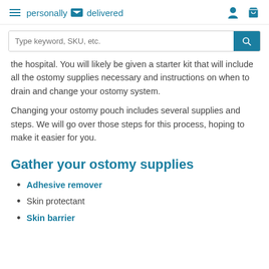personally delivered
the hospital. You will likely be given a starter kit that will include all the ostomy supplies necessary and instructions on when to drain and change your ostomy system.
Changing your ostomy pouch includes several supplies and steps. We will go over those steps for this process, hoping to make it easier for you.
Gather your ostomy supplies
Adhesive remover
Skin protectant
Skin barrier